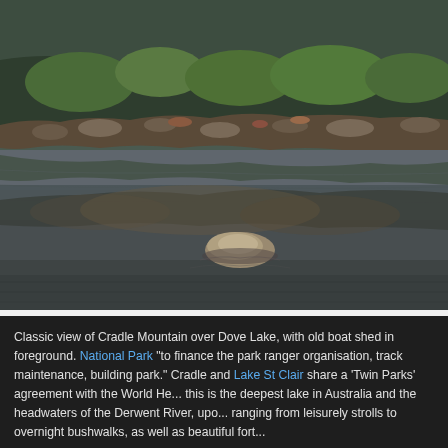[Figure (photo): Landscape photo showing a calm lake with reflections of rocky hills and green shrubland vegetation. A large partially submerged rock is visible in the foreground water. The scene is Dove Lake at Cradle Mountain, Tasmania, with reflections creating a mirror image effect.]
Classic view of Cradle Mountain over Dove Lake, with old boat shed in foreground. National Park "to finance the park ranger organisation, track maintenance, building park." Cradle and Lake St Clair share a 'Twin Parks' agreement with the World He... this is the deepest lake in Australia and the headwaters of the Derwent River, upo... ranging from leisurely strolls to overnight bushwalks, as well as beautiful fort...